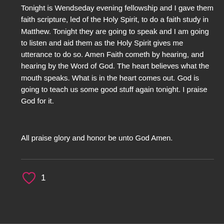Tonight is Wendseday evening fellowship and I gave them faith scripture, led of the Holy Spirit, to do a faith study in Matthew. Tonight they are going to speak and I am going to listen and aid them as the Holy Spirit gives me utterance to do so. Amen Faith cometh by hearing, and hearing by the Word of God. The heart believes what the mouth speaks. What is in the heart comes out. God is going to teach us some good stuff again tonight. I praise God for it.
All praise glory and honor be unto God Amen.
[Figure (other): Heart/like icon with count of 1]